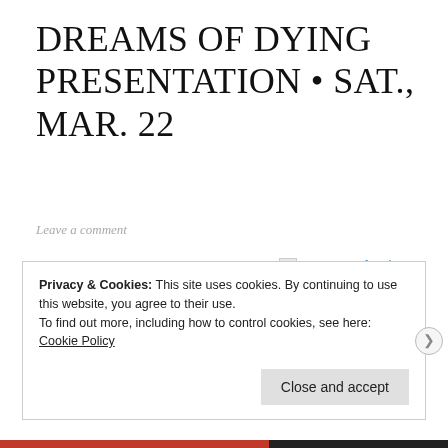DREAMS OF DYING PRESENTATION • SAT., MAR. 22
Leave a comment
Elizabeth Herrera will facilitate an open discussion on whether the world is real or an illusion projected by our higher Mind.
[Figure (illustration): Broken image placeholder with link text 'Dreams of Dying' in blue, followed by italic caption 'Dreams of Dying']
Privacy & Cookies: This site uses cookies. By continuing to use this website, you agree to their use.
To find out more, including how to control cookies, see here: Cookie Policy
Close and accept